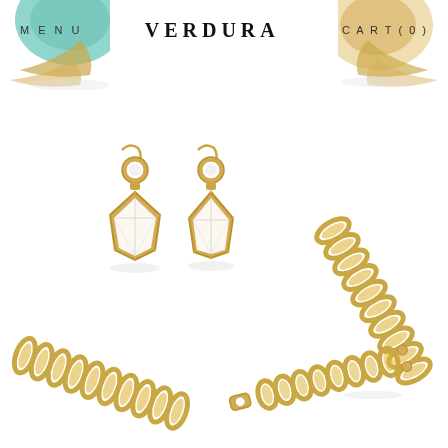MENU   VERDURA   CART(0)
[Figure (photo): Partial view of a turquoise and gold decorative jewelry piece, top-left corner]
[Figure (photo): Partial view of a gold decorative jewelry piece, top-right corner]
[Figure (photo): Pair of gold drop earrings with round diamond tops and large faceted kite/shield-shaped crystal pendants in milgrain gold bezels]
[Figure (photo): Gold curb chain bracelet, diagonal orientation, right side of page]
[Figure (photo): Gold curb chain bracelet, bottom-left, diagonal orientation]
[Figure (photo): Gold chain with clasp, bottom-right, diagonal orientation]